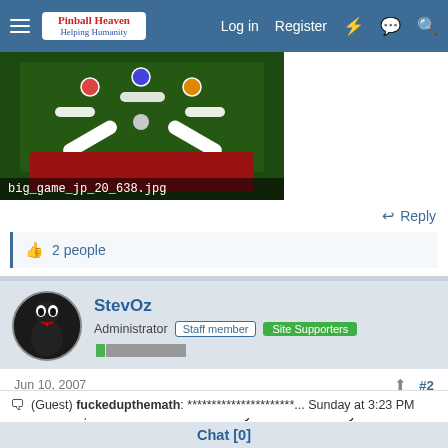Pinball Heaven | Log in | Register
[Figure (photo): Pinball machine playfield close-up photo labeled big_game_jp_20_638.jpg]
big_game_jp_20_638.jpg
Reply
2 people
StevOz
Administrator  Staff member  Site Supporters
Jun 10, 2007
#2
Thanks JP, excellent release I really like these early SS Stern
(Guest) fuckedupthemath: ********************...  Sunday at 3:23 PM
Chat [0]